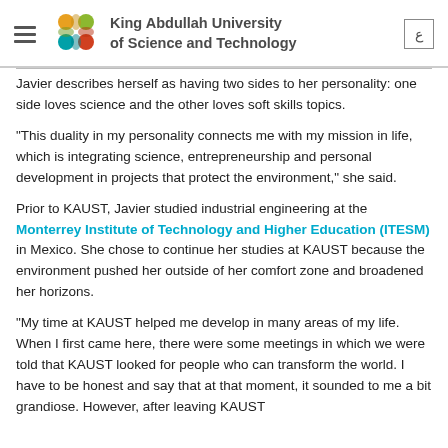King Abdullah University of Science and Technology
Javier describes herself as having two sides to her personality: one side loves science and the other loves soft skills topics.
"This duality in my personality connects me with my mission in life, which is integrating science, entrepreneurship and personal development in projects that protect the environment," she said.
Prior to KAUST, Javier studied industrial engineering at the Monterrey Institute of Technology and Higher Education (ITESM) in Mexico. She chose to continue her studies at KAUST because the environment pushed her outside of her comfort zone and broadened her horizons.
"My time at KAUST helped me develop in many areas of my life. When I first came here, there were some meetings in which we were told that KAUST looked for people who can transform the world. I have to be honest and say that at that moment, it sounded to me a bit grandiose. However, after leaving KAUST